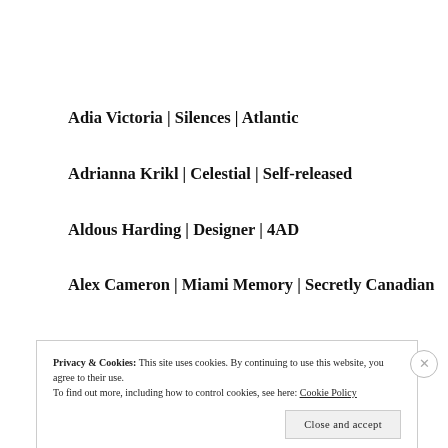Adia Victoria | Silences | Atlantic
Adrianna Krikl | Celestial | Self-released
Aldous Harding | Designer | 4AD
Alex Cameron | Miami Memory | Secretly Canadian
Privacy & Cookies: This site uses cookies. By continuing to use this website, you agree to their use. To find out more, including how to control cookies, see here: Cookie Policy
Close and accept